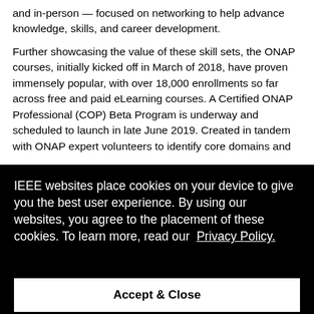and in-person — focused on networking to help advance knowledge, skills, and career development.
Further showcasing the value of these skill sets, the ONAP courses, initially kicked off in March of 2018, have proven immensely popular, with over 18,000 enrollments so far across free and paid eLearning courses. A Certified ONAP Professional (COP) Beta Program is underway and scheduled to launch in late June 2019. Created in tandem with ONAP expert volunteers to identify core domains and [text continues behind overlay] e to the [text] on the [text] sit
IEEE websites place cookies on your device to give you the best user experience. By using our websites, you agree to the placement of these cookies. To learn more, read our Privacy Policy.
Accept & Close
63)
65)
Essentials of Linux System Administration (LFS201)